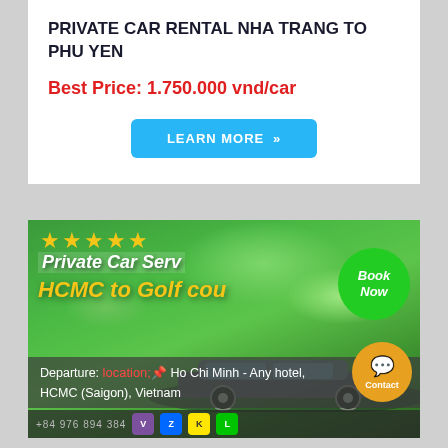PRIVATE CAR RENTAL NHA TRANG TO PHU YEN
Best Price: 1.750.000 vnd/car
LEARN MORE »
[Figure (photo): Golf course banner image with text overlay: 5-star rating, 'Private Car Service, HCMC to Golf course', Book Now circle button, departure info 'Departure: Ho Chi Minh - Any hotel, HCMC (Saigon), Vietnam', car image, social media icons and phone number bar at bottom]
Departure: Ho Chi Minh - Any hotel, HCMC (Saigon), Vietnam